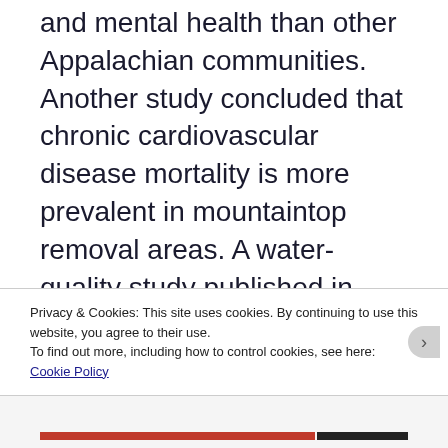and mental health than other Appalachian communities. Another study concluded that chronic cardiovascular disease mortality is more prevalent in mountaintop removal areas. A water-quality study published in 2011 found increased concentrations of selenium, sulfate, magnesium and other inorganic solutes in rivers downstream from active
Privacy & Cookies: This site uses cookies. By continuing to use this website, you agree to their use. To find out more, including how to control cookies, see here: Cookie Policy